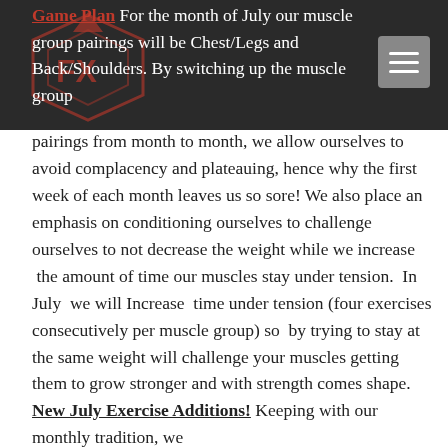Game Plan For the month of July our muscle group pairings will be Chest/Legs and Back/Shoulders.
By switching up the muscle group pairings from month to month, we allow ourselves to avoid complacency and plateauing, hence why the first week of each month leaves us so sore! We also place an emphasis on conditioning ourselves to challenge ourselves to not decrease the weight while we increase the amount of time our muscles stay under tension. In July we will Increase time under tension (four exercises consecutively per muscle group) so by trying to stay at the same weight will challenge your muscles getting them to grow stronger and with strength comes shape. New July Exercise Additions! Keeping with our monthly tradition, we